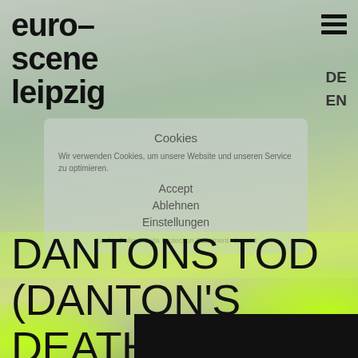euro-scene leipzig
DE
EN
Cookies
Wir verwenden Cookies, um unsere Website und unseren Service zu optimieren.
Accept
Ablehnen
Einstellungen
Cookie Policy · Data Protection Statement · Imprint
DANTONS TOD (DANTON'S DEATH)
[Figure (photo): Dark/black image at bottom of page, partially visible]